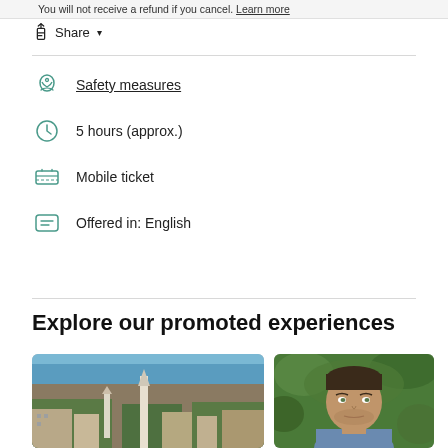You will not receive a refund if you cancel. Learn more
Share
Safety measures
5 hours (approx.)
Mobile ticket
Offered in: English
Explore our promoted experiences
[Figure (photo): Aerial view of a city with churches and buildings near water]
[Figure (photo): Close-up portrait of a man outdoors with green foliage background]